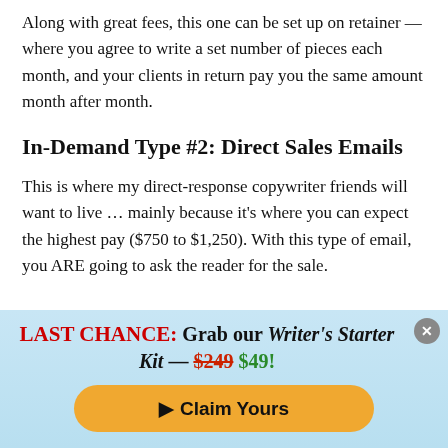Along with great fees, this one can be set up on retainer — where you agree to write a set number of pieces each month, and your clients in return pay you the same amount month after month.
In-Demand Type #2: Direct Sales Emails
This is where my direct-response copywriter friends will want to live … mainly because it's where you can expect the highest pay ($750 to $1,250). With this type of email, you ARE going to ask the reader for the sale.
LAST CHANCE: Grab our Writer's Starter Kit — $249 $49!
▶ Claim Yours